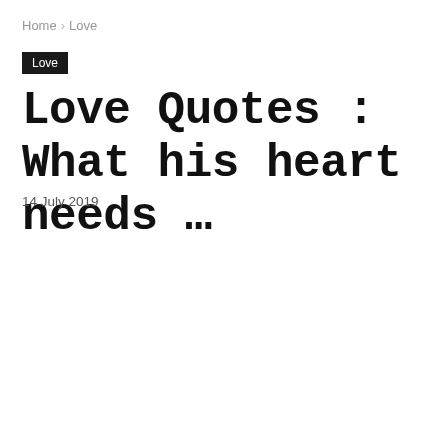Home › Love
Love
Love Quotes : What his heart needs …
14 July 2019